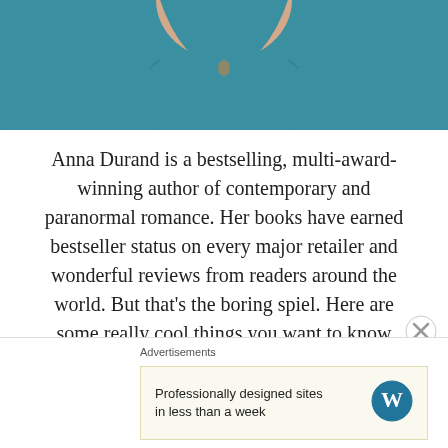[Figure (photo): Partial photo of a woman wearing a teal/blue top, cropped at the shoulders]
Anna Durand is a bestselling, multi-award-winning author of contemporary and paranormal romance. Her books have earned bestseller status on every major retailer and wonderful reviews from readers around the world. But that's the boring spiel. Here are some really cool things you want to know about Anna!
Born on Lackland Air Force Base in Texas, Anna grew up moving here, there, and everywhere thanks to her dad's job as an instructor pilot.
Advertisements
Professionally designed sites in less than a week